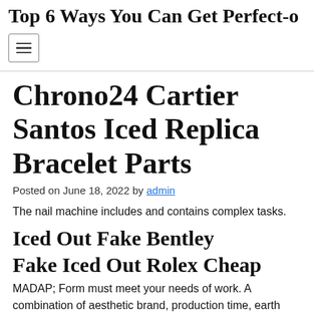Top 6 Ways You Can Get Perfect-...
[Figure (other): Hamburger menu toggle button with three horizontal lines]
Chrono24 Cartier Santos Iced Replica Bracelet Parts
Posted on June 18, 2022 by admin
The nail machine includes and contains complex tasks.
Iced Out Fake Bentley
Fake Iced Out Rolex Cheap
MADAP; Form must meet your needs of work. A combination of aesthetic brand, production time, earth